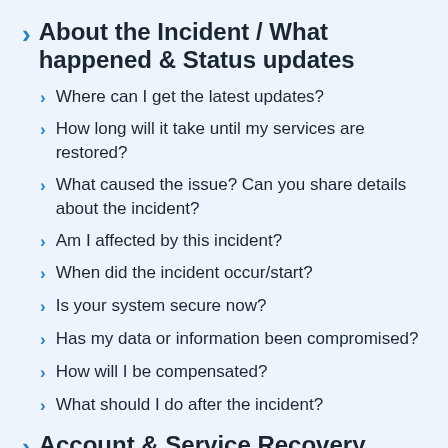About the Incident / What happened & Status updates
Where can I get the latest updates?
How long will it take until my services are restored?
What caused the issue? Can you share details about the incident?
Am I affected by this incident?
When did the incident occur/start?
Is your system secure now?
Has my data or information been compromised?
How will I be compensated?
What should I do after the incident?
Account & Service Recovery Efforts